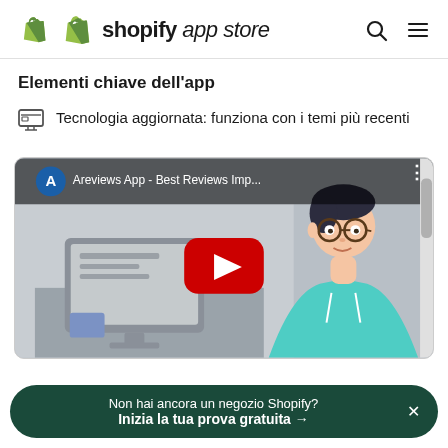shopify app store
Elementi chiave dell'app
Tecnologia aggiornata: funziona con i temi più recenti
[Figure (screenshot): YouTube video thumbnail for 'Areviews App - Best Reviews Imp...' showing a cartoon character looking at a computer, with a red YouTube play button in the center]
Non hai ancora un negozio Shopify? Inizia la tua prova gratuita →